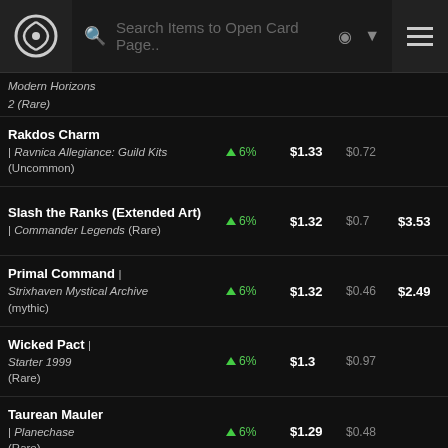Search Items to Open Card Page...
Modern Horizons 2 (Rare)
| Card | Change | Price | Low | High | Action |
| --- | --- | --- | --- | --- | --- |
| Rakdos Charm | Ravnica Allegiance: Guild Kits (Uncommon) | ▲ 6% | $1.33 | $0.72 |  | Add to Wat |
| Slash the Ranks (Extended Art) | Commander Legends (Rare) | ▲ 6% | $1.32 | $0.7 | $3.53 | Add to Wat |
| Primal Command | Strixhaven Mystical Archive (mythic) | ▲ 6% | $1.32 | $0.46 | $2.49 | Add to Wat |
| Wicked Pact | Starter 1999 (Rare) | ▲ 6% | $1.3 | $0.97 |  | Add to Wat |
| Taurean Mauler | Planechase (Rare) | ▲ 6% | $1.29 | $0.48 |  | Add to Wat |
| Windriddle Palaces (Planechase Anthology) | Oversize Cards (Special) | ▲ 6% | $1.28 | $0.9 |  | Add to Wat |
| Talisman of Creativity | Modern Horizons | ▲ 6% | $1.27 | $0.6 | $4.22 | Add to Wat |